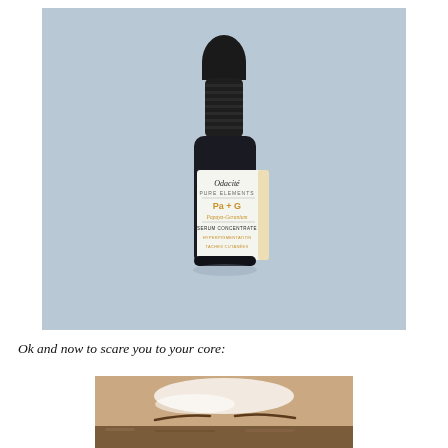[Figure (photo): A small dark glass dropper bottle with a black rubber-tipped dropper cap. The white label reads 'Odacité PURE ELEMENTS' at the top, then 'Pa + G' in orange/gold text, then 'Papaya-Geranium' in orange italic, then 'SERUM CONCENTRATE' in dark text, then 'HYPERPIGMENTATION' and 'TACHES CUTANÉES' in smaller orange text. The bottle sits on a pale blue-grey background.]
Ok and now to scare you to your core:
[Figure (photo): Close-up photo of a person's forehead and upper face area, showing skin with what appears to be a white product or cream applied to the forehead area. The person has brown hair visible at the bottom of the image.]